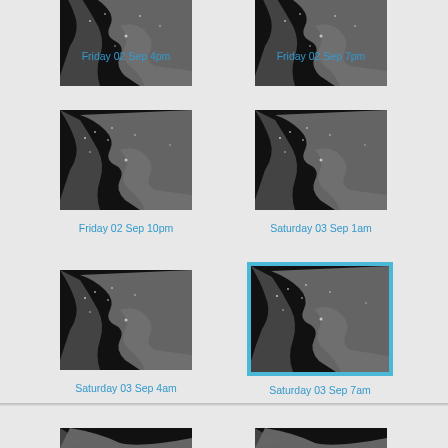[Figure (map): Satellite map of Western Europe/Mediterranean region, grayscale, nighttime appearance]
Friday 02 Sep 4pm
[Figure (map): Satellite map of Western Europe/Mediterranean region, grayscale, nighttime appearance]
Friday 02 Sep 7pm
[Figure (map): Satellite map of Western Europe/Mediterranean region, grayscale, nighttime appearance]
Friday 02 Sep 10pm
[Figure (map): Satellite map of Western Europe/Mediterranean region, grayscale, nighttime appearance]
Saturday 03 Sep 1am
[Figure (map): Satellite map of Western Europe/Mediterranean region, grayscale, nighttime appearance]
Saturday 03 Sep 4am
[Figure (map): Satellite map of Western Europe/Mediterranean region, grayscale, nighttime appearance, highlighted with blue border (current selection)]
Saturday 03 Sep 7am
[Figure (map): Satellite map of Western Europe/Mediterranean region, grayscale, partially visible at bottom]
[Figure (map): Satellite map of Western Europe/Mediterranean region, grayscale, partially visible at bottom]